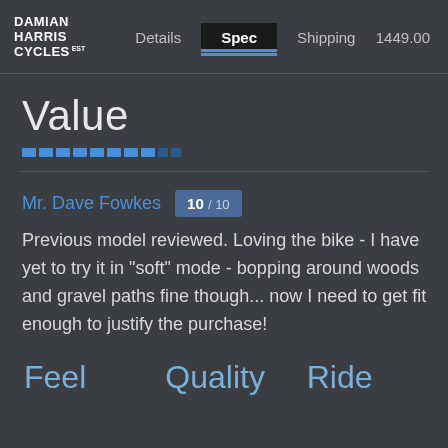DAMIAN HARRIS CYCLES est 1991 | Details | Spec | Shipping | 1449.00
Value
[Figure (infographic): A horizontal rating bar made of blue segments indicating a score rating for Value]
Mr. Dave Fowkes  10 / 10
Previous model reviewed. Loving the bike - I have yet to try it in "soft" mode - bopping around woods and gravel paths fine though... now I need to get fit enough to justify the purchase!
Feel   Quality   Ride